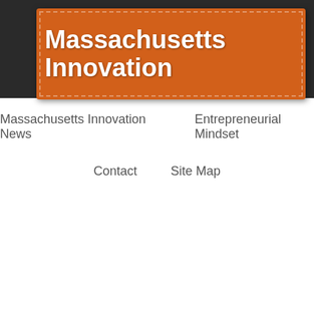Massachusetts Innovation
Massachusetts Innovation News
Entrepreneurial Mindset
Contact
Site Map